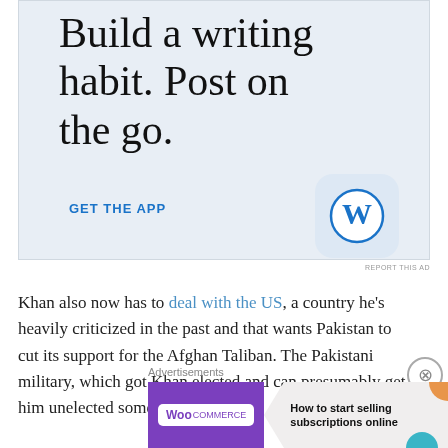[Figure (screenshot): WordPress app advertisement with large serif text reading 'Build a writing habit. Post on the go.' with a 'GET THE APP' call to action and WordPress circular logo icon, on a light blue-grey background]
REPORT THIS AD
Khan also now has to deal with the US, a country he's heavily criticized in the past and that wants Pakistan to cut its support for the Afghan Taliban. The Pakistani military, which got Khan elected and can presumably get him unelected someday
Advertisements
[Figure (screenshot): WooCommerce advertisement banner with purple background showing WooCommerce logo and text 'How to start selling subscriptions online' with green and orange decorative shapes]